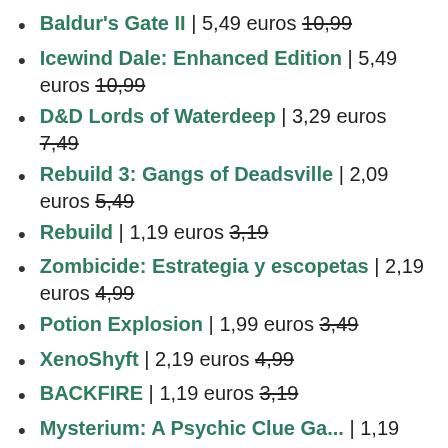Baldur's Gate II | 5,49 euros 10,99
Icewind Dale: Enhanced Edition | 5,49 euros 10,99
D&D Lords of Waterdeep | 3,29 euros 7,49
Rebuild 3: Gangs of Deadsville | 2,09 euros 5,49
Rebuild | 1,19 euros 3,19
Zombicide: Estrategia y escopetas | 2,19 euros 4,99
Potion Explosion | 1,99 euros 3,49
XenoShyft | 2,19 euros 4,99
BACKFIRE | 1,19 euros 3,19
Mysterium: A Psychic Clue Game | 1,19 (truncated)